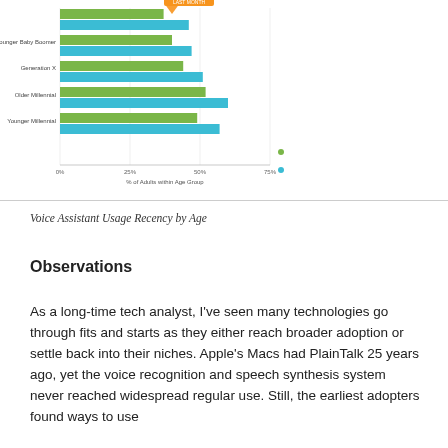[Figure (grouped-bar-chart): Voice Assistant Usage Recency by Age]
Voice Assistant Usage Recency by Age
Observations
As a long-time tech analyst, I've seen many technologies go through fits and starts as they either reach broader adoption or settle back into their niches. Apple's Macs had PlainTalk 25 years ago, yet the voice recognition and speech synthesis system never reached widespread regular use. Still, the earliest adopters found ways to use